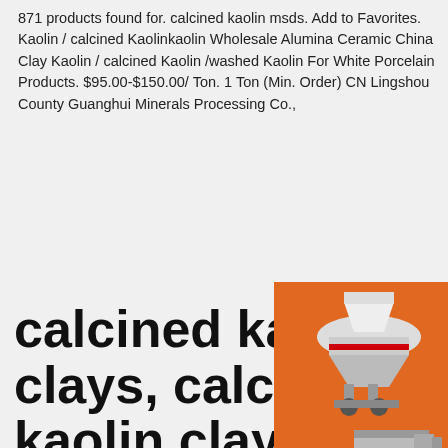871 products found for. calcined kaolin msds. Add to Favorites. Kaolin / calcined Kaolinkaolin Wholesale Alumina Ceramic China Clay Kaolin / calcined Kaolin /washed Kaolin For White Porcelain Products. $95.00-$150.00/ Ton. 1 Ton (Min. Order) CN Lingshou County Guanghui Minerals Processing Co.,
calcined kaolin clays, calcined kaolin clays Suppliers and ...
[Figure (photo): Orange advertisement banner showing industrial mining/crushing machines (cone crusher, jaw crusher, mill) with text 'Enjoy 3% discount' and 'Click to Chat']
Calcined kaolin clay Size :325mesh Whiteness:95 93%min Application:soap and laundry detergent Chemicals: composition SiO2 Al2O3 Fe2O3 CaO TiO2 K2O Na2O Percentage 45.23 37.58 0.28 0.27 0.15 2.2 Any other applications about calcined kaolin clay : Calcined kaolin is mainly used for
Enquiry
limingjlmofen@sina.com